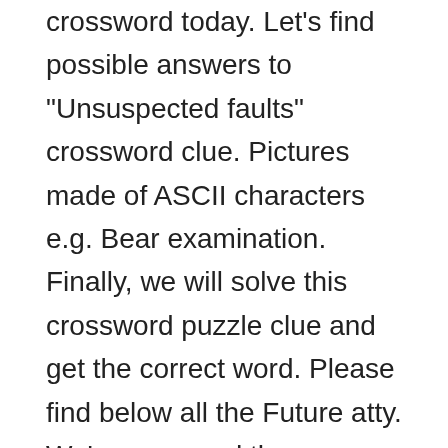crossword today. Let's find possible answers to "Unsuspected faults" crossword clue. Pictures made of ASCII characters e.g. Bear examination. Finally, we will solve this crossword puzzle clue and get the correct word. Please find below all the Future atty. We've arranged the synonyms in length order so that they are easier to find. The crossword clue 'Teddy bear' published 1 times and has 1 unique answers on our system. Check out 'New York Times' answers for TODAY! Search By Answer. The Crossword Solver found 55 answers to the Pretext crossword clue. In this page will find the solution to Cross to bear crossword clue. First of all, we will look for a few extra hints for this entry: Unsuspected faults. The Crosswordleak.com system found 25 answers for type